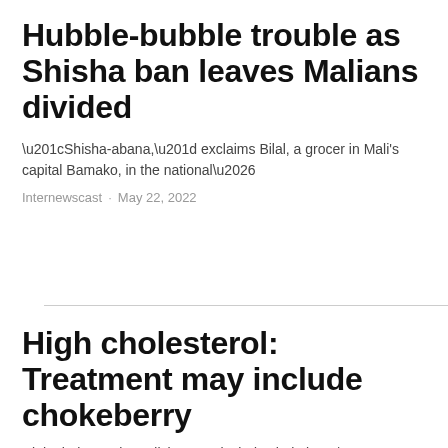Hubble-bubble trouble as Shisha ban leaves Malians divided
“Shisha-abana,” exclaims Bilal, a grocer in Mali’s capital Bamako, in the national…
Internewscast · May 22, 2022
High cholesterol: Treatment may include chokeberry
High cholesterol: Medicine may include chokeberry…